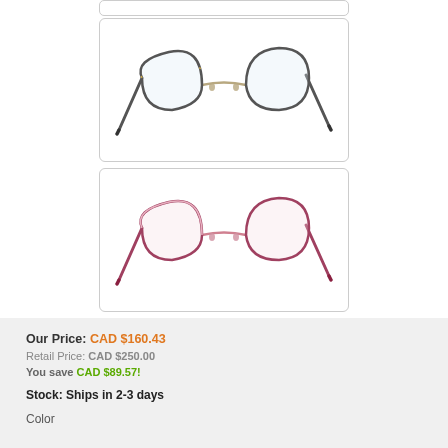[Figure (photo): Eyeglasses with dark/gold metal frame, cat-eye shape, shown from 3/4 angle]
[Figure (photo): Eyeglasses with rose/pink metal frame, cat-eye shape, shown from 3/4 angle]
Our Price: CAD $160.43
Retail Price: CAD $250.00
You save CAD $89.57!
Stock: Ships in 2-3 days
Color